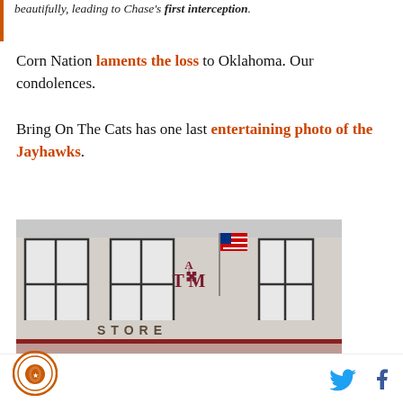beautifully, leading to Chase's first interception.
Corn Nation laments the loss to Oklahoma. Our condolences.
Bring On The Cats has one last entertaining photo of the Jayhawks.
[Figure (photo): Exterior of a building showing windows and the ATM logo with a Store sign and an American flag partially visible.]
[Figure (logo): SB Nation circular logo with a football helmet icon]
[Figure (other): Twitter bird icon and Facebook f icon for social sharing]